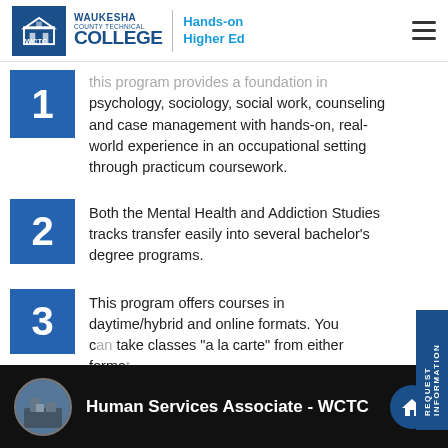WAUKESHA COUNTY TECHNICAL COLLEGE | Hands-on Higher Ed
The program provides a foundation in psychology, sociology, social work, counseling and case management with hands-on, real-world experience in an occupational setting through practicum coursework.
Both the Mental Health and Addiction Studies tracks transfer easily into several bachelor's degree programs.
This program offers courses in daytime/hybrid and online formats. You can take classes "a la carte" from either format
[Figure (screenshot): Video thumbnail for 'Human Services Associate - WCTC' showing a circular building image and a home icon button on dark background]